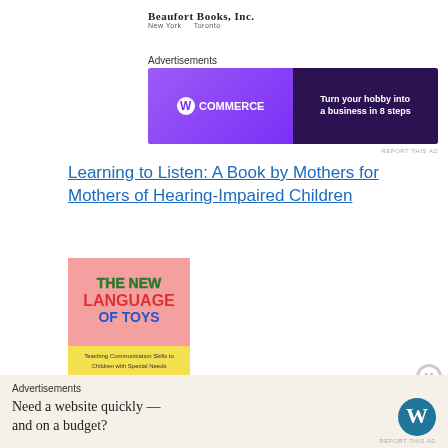[Figure (logo): Beaufort Books, Inc. logo with tagline 'New York Toronto']
Advertisements
[Figure (illustration): WooCommerce advertisement banner: 'Turn your hobby into a business in 8 steps']
REPORT THIS AD
Learning to Listen: A Book by Mothers for Mothers of Hearing-Impaired Children
[Figure (photo): Book cover of 'The New Language of Toys: Teaching Communication Skills to Children with Special Needs']
Advertisements
[Figure (illustration): WordPress advertisement: 'Need a website quickly — and on a budget?' with WordPress logo]
REPORT THIS AD